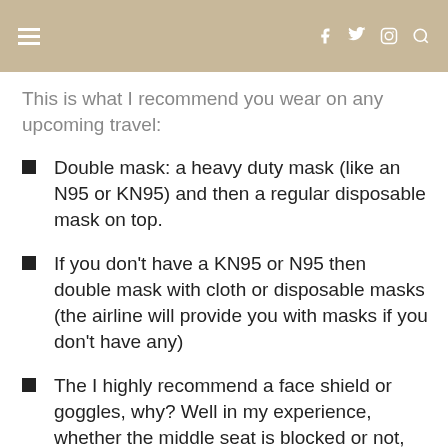≡   f  tw  camera  search
This is what I recommend you wear on any upcoming travel:
Double mask: a heavy duty mask (like an N95 or KN95) and then a regular disposable mask on top.
If you don't have a KN95 or N95 then double mask with cloth or disposable masks (the airline will provide you with masks if you don't have any)
The I highly recommend a face shield or goggles, why? Well in my experience, whether the middle seat is blocked or not, you will be within 2 feet of people no matter what...I am not sure about you but I haven't been that close to anyone that doesn't share my last name or is in my quarantine